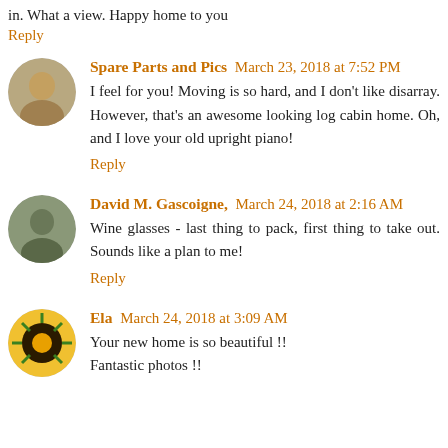in. What a view. Happy home to you
Reply
Spare Parts and Pics March 23, 2018 at 7:52 PM
I feel for you! Moving is so hard, and I don't like disarray. However, that's an awesome looking log cabin home. Oh, and I love your old upright piano!
Reply
David M. Gascoigne, March 24, 2018 at 2:16 AM
Wine glasses - last thing to pack, first thing to take out. Sounds like a plan to me!
Reply
Ela March 24, 2018 at 3:09 AM
Your new home is so beautiful !! Fantastic photos !!